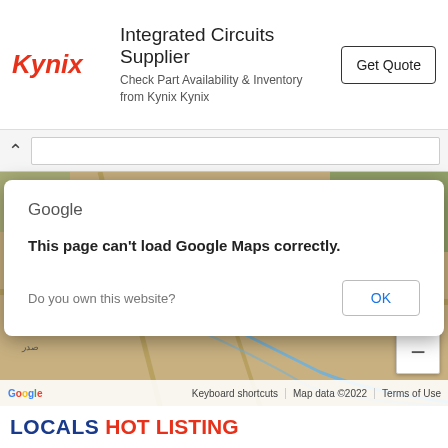[Figure (screenshot): Kynix advertisement banner: Kynix logo in red italic, 'Integrated Circuits Supplier' heading, 'Check Part Availability & Inventory from Kynix Kynix' subtitle, and 'Get Quote' button on the right.]
[Figure (screenshot): Browser navigation bar with back arrow and URL input field.]
[Figure (map): Google Maps screenshot showing Faizabad, Satellite Town, Saddar area in Pakistan with watermarks 'For development purposes only'. A dialog box overlays with: Google logo, message 'This page can't load Google Maps correctly.', 'Do you own this website?' text, and OK button. Map includes zoom controls (+/-). Footer shows Google logo, Keyboard shortcuts, Map data ©2022, Terms of Use.]
LOCALS HOT LISTING